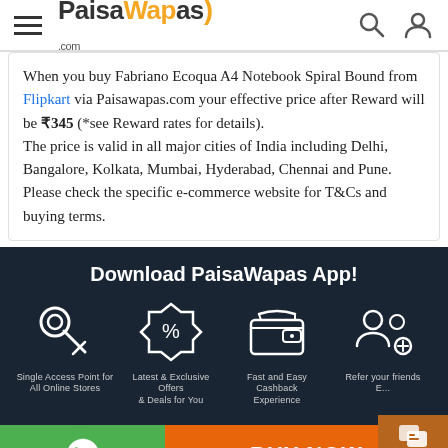PaisaWapas.com
When you buy Fabriano Ecoqua A4 Notebook Spiral Bound from Flipkart via Paisawapas.com your effective price after Reward will be ₹345 (*see Reward rates for details). The price is valid in all major cities of India including Delhi, Bangalore, Kolkata, Mumbai, Hyderabad, Chennai and Pune. Please check the specific e-commerce website for T&Cs and buying terms.
Download PaisaWapas App!
[Figure (infographic): Four feature icons on dark background: Key icon for Single Access Point for All Online Stores, Badge/percent icon for Latest & Exclusive Offers & Deals for You, Wallet icon for Fast and Easy Cashback Experience, People icon for Refer your friends]
[Figure (infographic): Bottom bar with WhatsApp icon on green background, BUY NOW button on orange background, and chat widget saying We're offline]